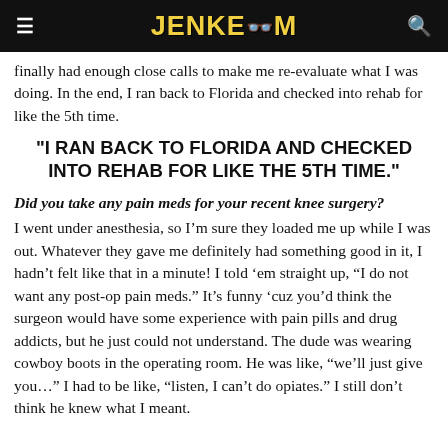JENKEM
finally had enough close calls to make me re-evaluate what I was doing. In the end, I ran back to Florida and checked into rehab for like the 5th time.
“I RAN BACK TO FLORIDA AND CHECKED INTO REHAB FOR LIKE THE 5TH TIME.”
Did you take any pain meds for your recent knee surgery?
I went under anesthesia, so I’m sure they loaded me up while I was out. Whatever they gave me definitely had something good in it, I hadn’t felt like that in a minute! I told ’em straight up, “I do not want any post-op pain meds.” It’s funny ’cuz you’d think the surgeon would have some experience with pain pills and drug addicts, but he just could not understand. The dude was wearing cowboy boots in the operating room. He was like, “we’ll just give you…” I had to be like, “listen, I can’t do opiates.” I still don’t think he knew what I meant.